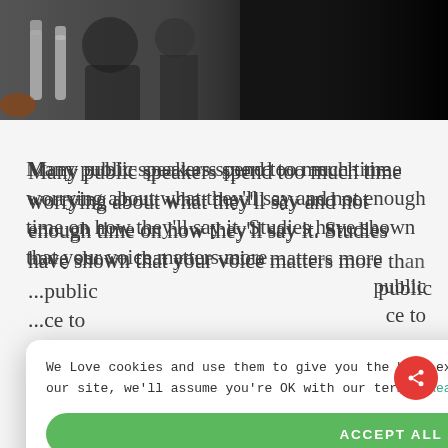[Figure (photo): A photo strip at the top showing people at what appears to be a conference or speaking event with water bottles visible on a table, dark background on the right.]
Many public speakers spend too much time worrying about what they'll say and not enough time on how they'll say it. Studies have shown that your voice matters more th... public ... ce to ... r
We Love cookies and use them to give you the best experience. If you continue using our site, we'll assume you're OK with our terms. Read more
ACCEPT ALL
POWERED BY COOKIE-SCRIPT
k down the components of your voice so you know